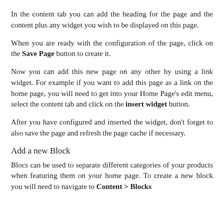In the content tab you can add the heading for the page and the content plus any widget you wish to be displayed on this page.
When you are ready with the configuration of the page, click on the Save Page button to create it.
Now you can add this new page on any other by using a link widget. For example if you want to add this page as a link on the home page, you will need to get into your Home Page's edit menu, select the content tab and click on the insert widget button.
After you have configured and inserted the widget, don't forget to also save the page and refresh the page cache if necessary.
Add a new Block
Blocs can be used to separate different categories of your products when featuring them on your home page. To create a new block you will need to navigate to Content > Blocks